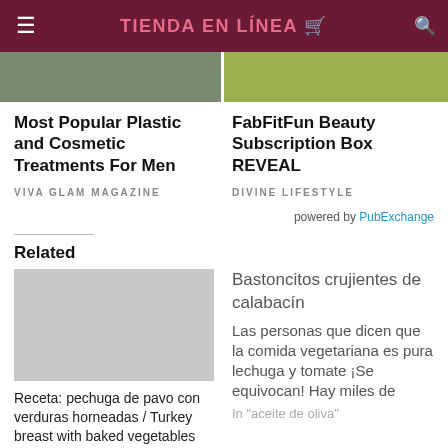TIENDA EN LÍNEA
[Figure (photo): Two cropped photos side by side: left shows a person, right shows colorful items]
Most Popular Plastic and Cosmetic Treatments For Men
VIVA GLAM MAGAZINE
FabFitFun Beauty Subscription Box REVEAL
DIVINE LIFESTYLE
powered by PubExchange
Related
[Figure (photo): Thumbnail photo placeholder for related article]
Receta: pechuga de pavo con verduras horneadas / Turkey breast with baked vegetables
In "baked"
Bastoncitos crujientes de calabacín
Las personas que dicen que la comida vegetariana es pura lechuga y tomate ¡Se equivocan! Hay miles de
In "aceite de oliva"